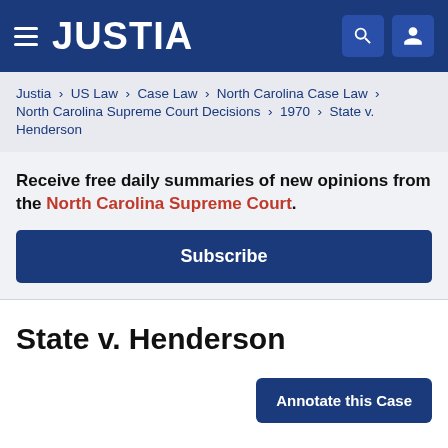JUSTIA
Justia › US Law › Case Law › North Carolina Case Law › North Carolina Supreme Court Decisions › 1970 › State v. Henderson
Receive free daily summaries of new opinions from the North Carolina Supreme Court.
Subscribe
State v. Henderson
Annotate this Case